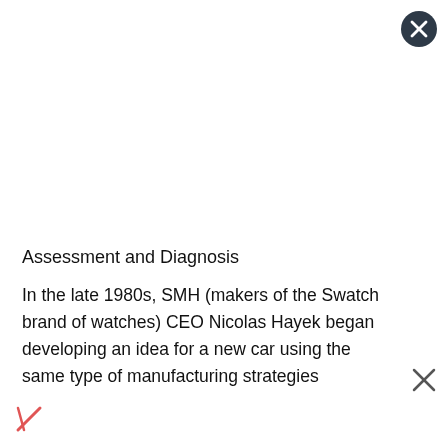[Figure (other): Close button circle icon with X in top right corner]
Assessment and Diagnosis
In the late 1980s, SMH (makers of the Swatch brand of watches) CEO Nicolas Hayek began developing an idea for a new car using the same type of manufacturing strategies
[Figure (other): Close X button on right side]
[Figure (other): Red/pink italic X in bottom left corner]